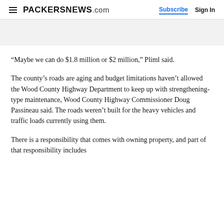PACKERSNEWS.com  Subscribe  Sign In
“Maybe we can do $1.8 million or $2 million,” Pliml said.
The county’s roads are aging and budget limitations haven’t allowed the Wood County Highway Department to keep up with strengthening-type maintenance, Wood County Highway Commissioner Doug Passineau said. The roads weren’t built for the heavy vehicles and traffic loads currently using them.
There is a responsibility that comes with owning property, and part of that responsibility includes